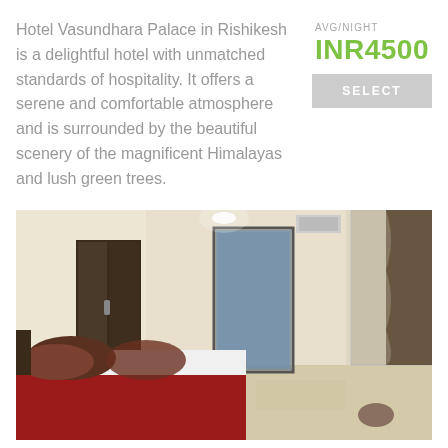Hotel Vasundhara Palace in Rishikesh is a delightful hotel with unmatched standards of hospitality. It offers a serene and comfortable atmosphere and is surrounded by the beautiful scenery of the magnificent Himalayas and lush green trees.
AVG/NIGHT
INR4500
SELECT
[Figure (photo): Hotel room interior showing a bed with red bedspread and dark pillows, a dark wardrobe, a glass door/bathroom, and curtains on the right side.]